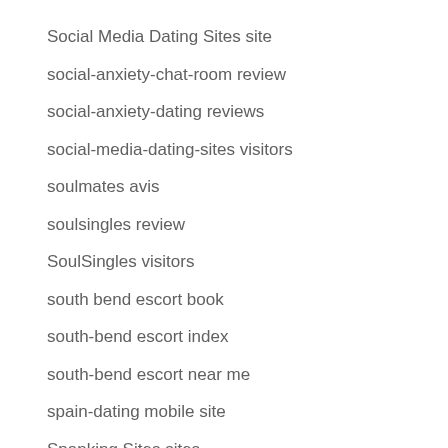Social Media Dating Sites site
social-anxiety-chat-room review
social-anxiety-dating reviews
social-media-dating-sites visitors
soulmates avis
soulsingles review
SoulSingles visitors
south bend escort book
south-bend escort index
south-bend escort near me
spain-dating mobile site
Spanking Sites sites
sparks escort near me
Sparky siti incontri single
sparky visitors